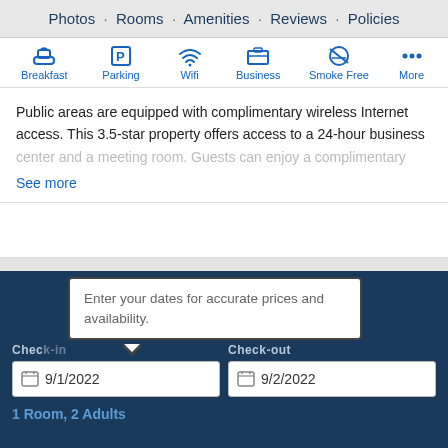Photos · Rooms · Amenities · Reviews · Policies
[Figure (infographic): Amenity icons row: Breakfast, Parking, Wifi, Business, Smoke Free, More — each with a blue icon above blue label text]
Public areas are equipped with complimentary wireless Internet access. This 3.5-star property offers access to a 24-hour business center and a meeting room. Guests can enjoy a complimentary...
See more
Enter your dates for accurate prices and availability.
Check-in
Check-out
9/1/2022
9/2/2022
1 Room, 2 Adults